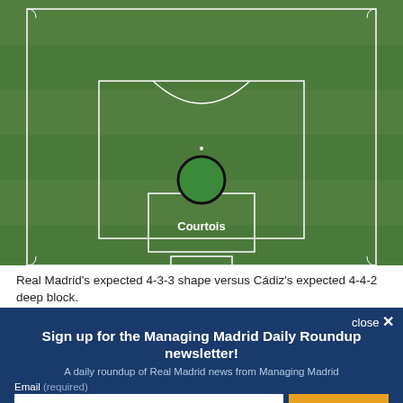[Figure (illustration): A football/soccer pitch diagram showing the goalkeeper position. The pitch is shown from above with green grass, white lines marking penalty area and goal area. A dark circle with a green fill represents the goalkeeper (Courtois) labeled at center with the name 'Courtois'.]
Real Madrid's expected 4-3-3 shape versus Cádiz's expected 4-4-2 deep block.
close ×
Sign up for the Managing Madrid Daily Roundup newsletter!
A daily roundup of Real Madrid news from Managing Madrid
Email (required)
SUBSCRIBE
By submitting your email, you agree to our Terms and Privacy Notice. You can opt out at any time. This site is protected by reCAPTCHA and the Google Privacy Policy and Terms of Service apply.